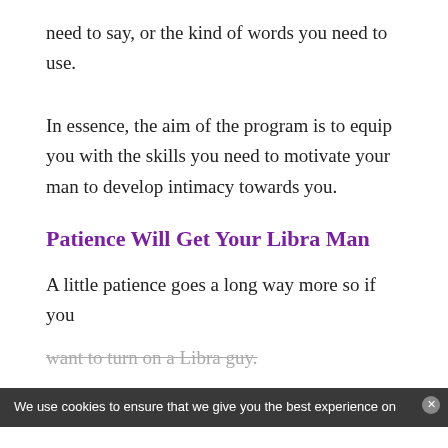need to say, or the kind of words you need to use.
In essence, the aim of the program is to equip you with the skills you need to motivate your man to develop intimacy towards you.
Patience Will Get Your Libra Man
A little patience goes a long way more so if you want to turn on a Libra guy.
We use cookies to ensure that we give you the best experience on
[Figure (advertisement): Victoria's Secret advertisement banner with model photo, VS logo, 'SHOP THE COLLECTION' text, and 'SHOP NOW' button on pink/red gradient background]